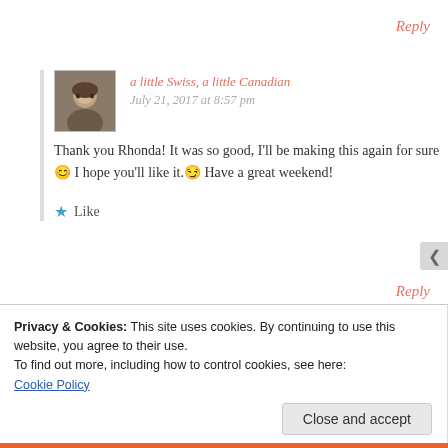Reply
a little Swiss, a little Canadian
July 21, 2017 at 8:57 pm
Thank you Rhonda! It was so good, I'll be making this again for sure😊 I hope you'll like it.😏 Have a great weekend!
★ Like
Reply
Privacy & Cookies: This site uses cookies. By continuing to use this website, you agree to their use.
To find out more, including how to control cookies, see here:
Cookie Policy
Close and accept